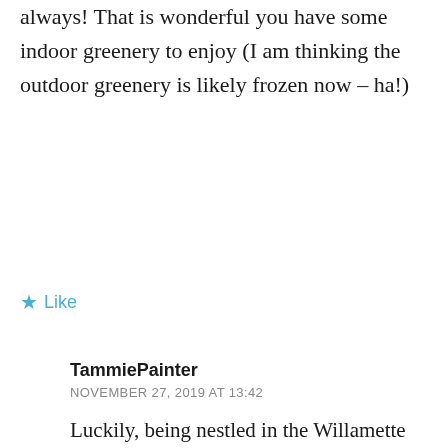always! That is wonderful you have some indoor greenery to enjoy (I am thinking the outdoor greenery is likely frozen now – ha!)
★ Like
TammiePainter
NOVEMBER 27, 2019 AT 13:42
Luckily, being nestled in the Willamette Valley we have plenty of greenery throughout the winter (and not just the algae growing on the sidewalks) with all the ferns and evergreens, but I imagine my